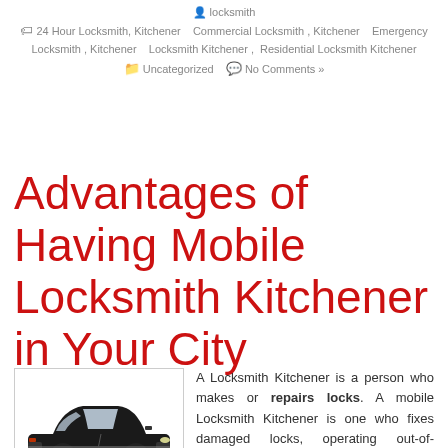locksmith 24 Hour Locksmith, Kitchener Commercial Locksmith , Kitchener Emergency Locksmith , Kitchener Locksmith Kitchener , Residential Locksmith Kitchener Uncategorized No Comments »
Advantages of Having Mobile Locksmith Kitchener in Your City
[Figure (illustration): Illustration of a classic black car (vintage/muscle car style) on a white background]
A Locksmith Kitchener is a person who makes or repairs locks. A mobile Locksmith Kitchener is one who fixes damaged locks, operating out-of-vehicles. They carry all the necessary equipments needed in their work. All you have to do is call